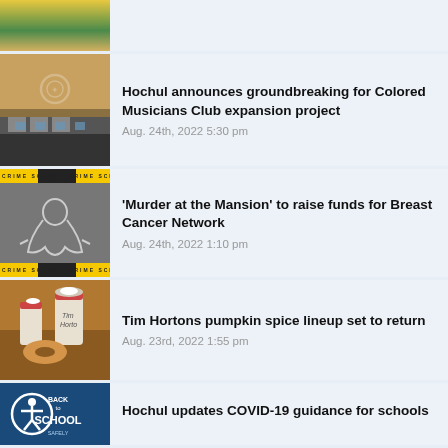[Figure (photo): Partial view of colorful storefront/mural at top of page (cropped)]
[Figure (photo): Architectural rendering of Colored Musicians Club expansion - brick building exterior]
Hochul announces groundbreaking for Colored Musicians Club expansion project
Aug. 24th, 2022 5:30 pm
[Figure (photo): Crime scene tape and chalk body outline on grey pavement]
'Murder at the Mansion' to raise funds for Breast Cancer Network
Aug. 24th, 2022 1:10 pm
[Figure (photo): Tim Hortons pumpkin spice drinks and donuts]
Tim Hortons pumpkin spice lineup set to return
Aug. 23rd, 2022 1:55 pm
[Figure (photo): Back to School safety logo - blue background with accessibility icon and text]
Hochul updates COVID-19 guidance for schools